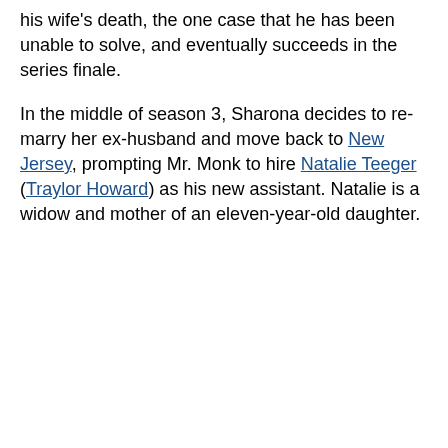his wife's death, the one case that he has been unable to solve, and eventually succeeds in the series finale.
In the middle of season 3, Sharona decides to re-marry her ex-husband and move back to New Jersey, prompting Mr. Monk to hire Natalie Teeger (Traylor Howard) as his new assistant. Natalie is a widow and mother of an eleven-year-old daughter.